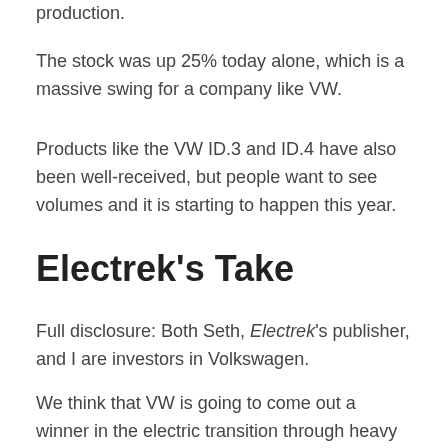production.
The stock was up 25% today alone, which is a massive swing for a company like VW.
Products like the VW ID.3 and ID.4 have also been well-received, but people want to see volumes and it is starting to happen this year.
Electrek's Take
Full disclosure: Both Seth, Electrek's publisher, and I are investors in Volkswagen.
We think that VW is going to come out a winner in the electric transition through heavy investments that came relatively early after the Dieselgate mess and the leadership of Herbert Diess.